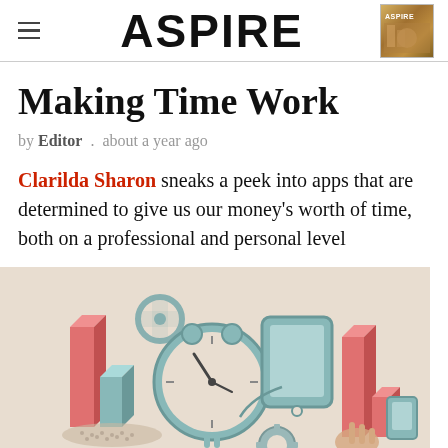ASPIRE
Making Time Work
by Editor . about a year ago
Clarilda Sharon sneaks a peek into apps that are determined to give us our money's worth of time, both on a professional and personal level
[Figure (illustration): Isometric illustration of a large clock/alarm surrounded by bar chart columns, a tablet/monitor, gears, and a hand, all in a teal, pink/salmon, and beige color scheme representing time management apps.]